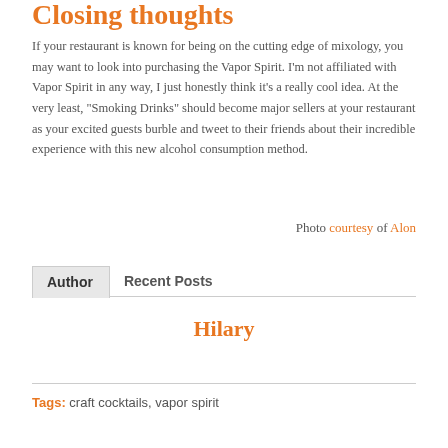Closing thoughts
If your restaurant is known for being on the cutting edge of mixology, you may want to look into purchasing the Vapor Spirit. I'm not affiliated with Vapor Spirit in any way, I just honestly think it's a really cool idea. At the very least, “Smoking Drinks” should become major sellers at your restaurant as your excited guests burble and tweet to their friends about their incredible experience with this new alcohol consumption method.
Photo courtesy of Alon
Author   Recent Posts
Hilary
Tags: craft cocktails, vapor spirit